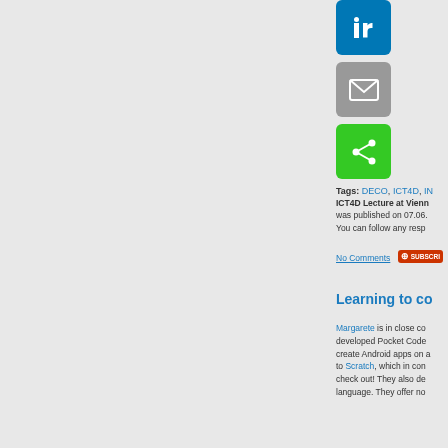[Figure (infographic): Social sharing buttons: LinkedIn (blue), Email (grey), Share/green button with share icon]
Tags: DECO, ICT4D, IN...
ICT4D Lecture at Vienn... was published on 07.06. You can follow any resp...
No Comments [SUBSCRIBE button]
Learning to co...
Margarete is in close co... developed Pocket Code... create Android apps on a... to Scratch, which in con... check out! They also de... language. They offer no...